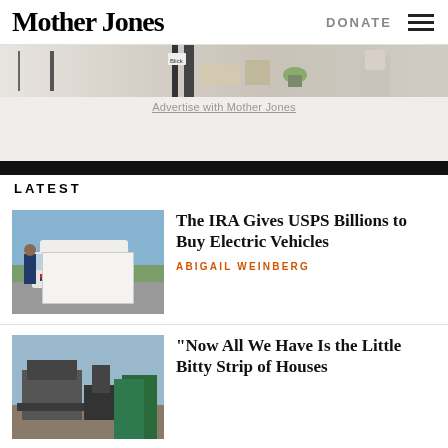Mother Jones
[Figure (illustration): Decorative advertisement banner illustration with hand-drawn style figures]
Advertise with Mother Jones
LATEST
[Figure (photo): USPS mail carrier next to a white postal truck in a residential neighborhood]
The IRA Gives USPS Billions to Buy Electric Vehicles
ABIGAIL WEINBERG
[Figure (photo): Damaged or burned structure with debris in foreground]
“Now All We Have Is the Little Bitty Strip of Houses